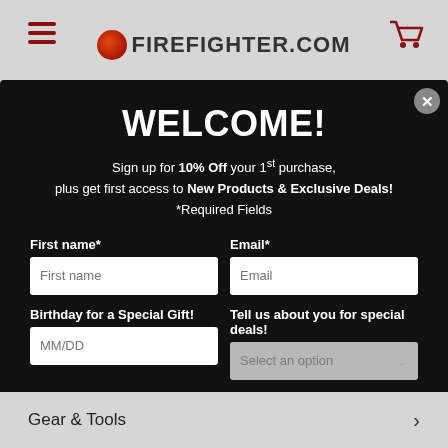[Figure (screenshot): Firefighter.com website header with hamburger menu icon on left, Firefighter.com logo in center, and shopping cart icon on right, on a gray background]
WELCOME!
Sign up for 10% Off your 1st purchase, plus get first access to New Products & Exclusive Deals! *Required Fields
First name*
Email*
Birthday for a Special Gift!
Tell us about you for special deals!
Sign Up!
Gear & Tools